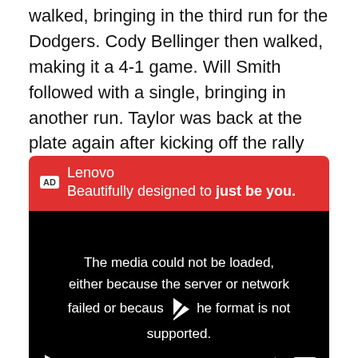walked, bringing in the third run for the Dodgers. Cody Bellinger then walked, making it a 4-1 game. Will Smith followed with a single, bringing in another run. Taylor was back at the plate again after kicking off the rally with a walk. He scorched a double down the left field line, clearing the bases and making it an 8-1 game.
[Figure (screenshot): Video advertisement for Lenovo with red header showing 'AD Lenovo Beautifully designed to just be you.' and a black video player area showing error message 'The media could not be loaded, either because the server or network failed or because the format is not supported.' with a play button icon overlay and video controls at the bottom.]